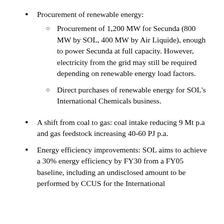Procurement of renewable energy:
Procurement of 1,200 MW for Secunda (800 MW by SOL, 400 MW by Air Liquide), enough to power Secunda at full capacity. However, electricity from the grid may still be required depending on renewable energy load factors.
Direct purchases of renewable energy for SOL’s International Chemicals business.
A shift from coal to gas: coal intake reducing 9 Mt p.a and gas feedstock increasing 40-60 PJ p.a.
Energy efficiency improvements: SOL aims to achieve a 30% energy efficiency by FY30 from a FY05 baseline, including an undisclosed amount to be performed by CCUS for the International